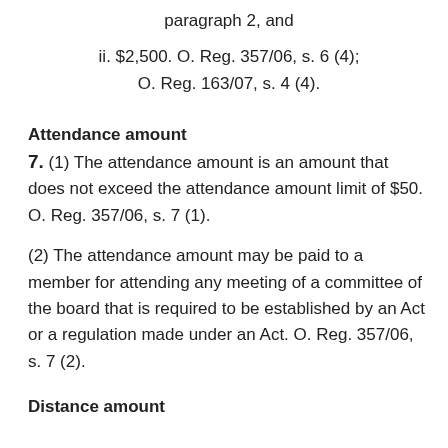paragraph 2, and
ii. $2,500. O. Reg. 357/06, s. 6 (4); O. Reg. 163/07, s. 4 (4).
Attendance amount
7. (1) The attendance amount is an amount that does not exceed the attendance amount limit of $50. O. Reg. 357/06, s. 7 (1).
(2) The attendance amount may be paid to a member for attending any meeting of a committee of the board that is required to be established by an Act or a regulation made under an Act. O. Reg. 357/06, s. 7 (2).
Distance amount